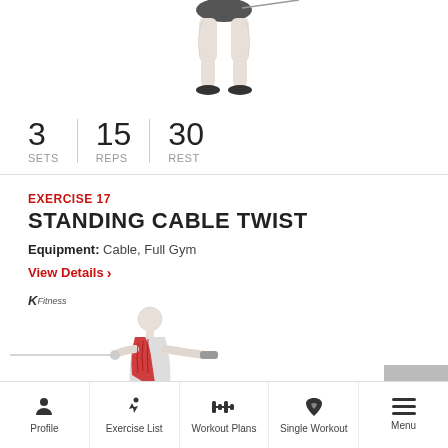[Figure (illustration): Partial lower body illustration of a person performing a cable exercise, showing legs and lower torso]
3 SETS   15 REPS   30 REST
EXERCISE 17
STANDING CABLE TWIST
Equipment: Cable, Full Gym
View Details ›
[Figure (illustration): Anatomy illustration of a man performing the standing cable twist exercise, showing highlighted core/oblique muscles in red, with a cable machine line extending to the left]
Profile | Exercise List | Workout Plans | Single Workout | Menu